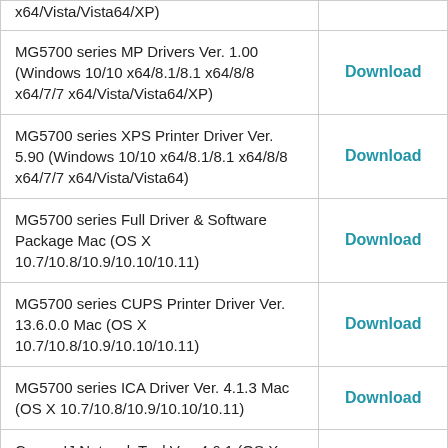| Description | Action |
| --- | --- |
| x64/Vista/Vista64/XP) |  |
| MG5700 series MP Drivers Ver. 1.00 (Windows 10/10 x64/8.1/8.1 x64/8/8 x64/7/7 x64/Vista/Vista64/XP) | Download |
| MG5700 series XPS Printer Driver Ver. 5.90 (Windows 10/10 x64/8.1/8.1 x64/8/8 x64/7/7 x64/Vista/Vista64) | Download |
| MG5700 series Full Driver & Software Package Mac (OS X 10.7/10.8/10.9/10.10/10.11) | Download |
| MG5700 series CUPS Printer Driver Ver. 13.6.0.0 Mac (OS X 10.7/10.8/10.9/10.10/10.11) | Download |
| MG5700 series ICA Driver Ver. 4.1.3 Mac (OS X 10.7/10.8/10.9/10.10/10.11) | Download |
| Canon IJ Network Tool Ver. 4.6.1 (OS X 10.7/10.8/10.9/10.10/10.11) | Download |
| IJ Scan Utility Ver.2.1.6 (OS X 10.7/10.8/10.9/10.10/10.11) | Download |
| MG5700 series IJ Printer Driver Ver. 5.20 for Linux |  |